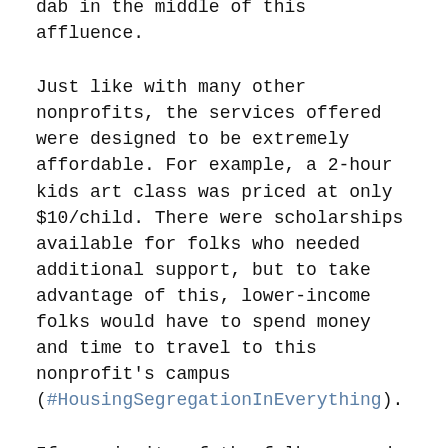dab in the middle of this affluence.
Just like with many other nonprofits, the services offered were designed to be extremely affordable. For example, a 2-hour kids art class was priced at only $10/child. There were scholarships available for folks who needed additional support, but to take advantage of this, lower-income folks would have to spend money and time to travel to this nonprofit's campus (#HousingSegregationInEverything).
If a majority of the folks served by these classes were affluent and could easily afford the “full price” tuition and beyond — why were they only paying $10/kid?
Based on countless conversations over the years with NPO professionals, the theory goes like this: NPO engines run off donations, and we often use